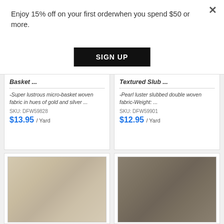Enjoy 15% off on your first orderwhen you spend $50 or more.
×
SIGN UP
Basket ...
-Super lustrous micro-basket woven fabric in hues of gold and silver ...
SKU: DFW59828
$13.95 / Yard
Textured Slub ...
-Pearl luster slubbed double woven fabric-Weight: ...
SKU: DFW59901
$12.95 / Yard
[Figure (photo): Light beige/cream textured woven fabric with diagonal fold lines]
[Figure (photo): Dark gray/taupe textured woven fabric]